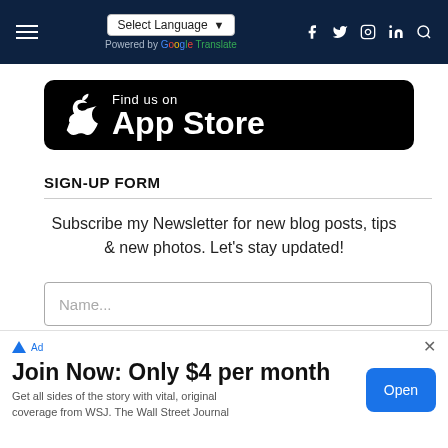Select Language | Powered by Google Translate | Social icons
[Figure (logo): Apple App Store badge: Find us on App Store]
SIGN-UP FORM
Subscribe my Newsletter for new blog posts, tips & new photos. Let's stay updated!
Name... (input field)
[Figure (screenshot): Ad banner: Join Now: Only $4 per month. Get all sides of the story with vital, original coverage from WSJ. The Wall Street Journal. Open button.]